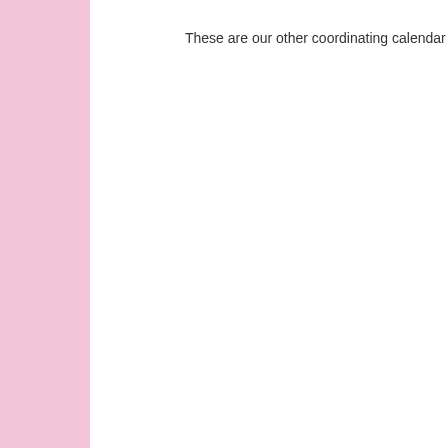These are our other coordinating calendar kits found in our sho